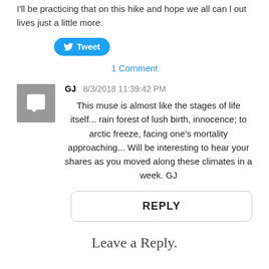I'll be practicing that on this hike and hope we all can l out lives just a little more.
[Figure (other): Twitter Tweet button (blue rounded pill button with bird icon and 'Tweet' label)]
1 Comment
GJ   8/3/2018 11:39:42 PM
This muse is almost like the stages of life itself... rain forest of lush birth, innocence; to arctic freeze, facing one's mortality approaching... Will be interesting to hear your shares as you moved along these climates in a week. GJ
REPLY
Leave a Reply.